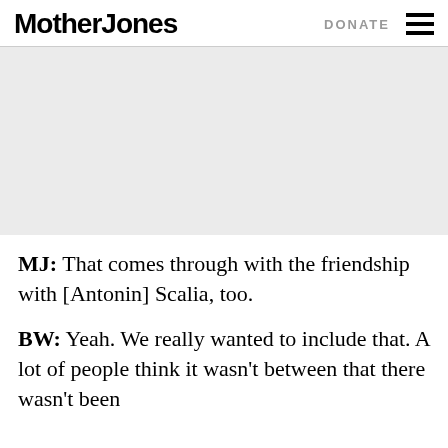Mother Jones | DONATE
[Figure (photo): Large gray placeholder image area]
MJ: That comes through with the friendship with [Antonin] Scalia, too.
BW: Yeah. We really wanted to include that. A lot of people think it wasn't between that there wasn't been